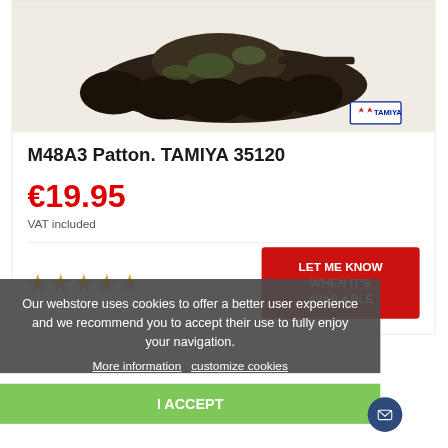[Figure (photo): Photo of M48A3 Patton tank model kit (Tamiya), showing dark olive/camo colored tank from above-side angle. Tamiya logo visible bottom-right of image.]
M48A3 Patton. TAMIYA 35120
€19.95
VAT included
[Figure (other): Five gold/orange star rating icons]
LET ME KNOW WHEN IT'S AVAILABLE
Our webstore uses cookies to offer a better user experience and we recommend you to accept their use to fully enjoy your navigation.
More information   customize cookies
I ACCEPT